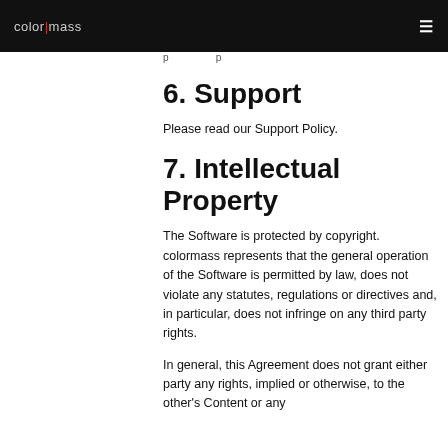colormass | [navigation]
p p
6. Support
Please read our Support Policy.
7. Intellectual Property
The Software is protected by copyright. colormass represents that the general operation of the Software is permitted by law, does not violate any statutes, regulations or directives and, in particular, does not infringe on any third party rights.
In general, this Agreement does not grant either party any rights, implied or otherwise, to the other's Content or any